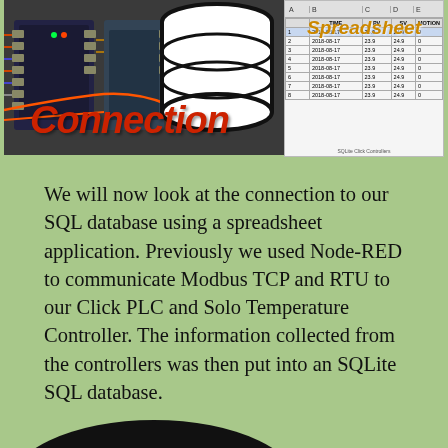[Figure (photo): Banner image composite: left side shows PLC/hardware photo with 'Connection' text overlay in red italic, center shows database cylinder icon, right side shows spreadsheet screenshot with 'Spreadsheet' text overlay in orange italic]
We will now look at the connection to our SQL database using a spreadsheet application. Previously we used Node-RED to communicate Modbus TCP and RTU to our Click PLC and Solo Temperature Controller. The information collected from the controllers was then put into an SQLite SQL database.
[Figure (illustration): Bottom of page shows partial view of a dark circular shape (chat bubble or logo) on green background]